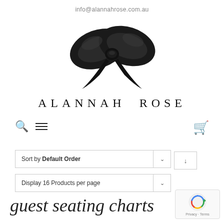info@alannahrose.com.au
[Figure (logo): Black satin bow ribbon logo for Alannah Rose brand]
ALANNAH ROSE
[Figure (infographic): Navigation bar with search icon, hamburger menu icon, and shopping cart icon]
Sort by Default Order
Display 16 Products per page
guest seating charts
[Figure (logo): Google reCAPTCHA badge with Privacy and Terms text]